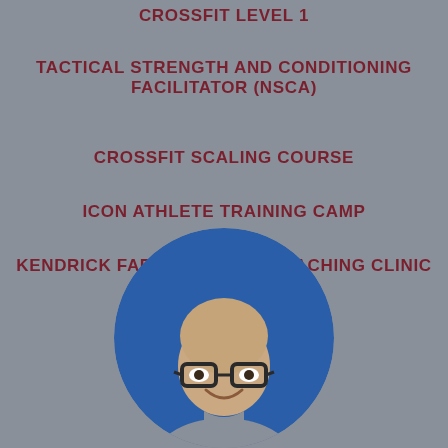CROSSFIT LEVEL 1
TACTICAL STRENGTH AND CONDITIONING FACILITATOR (NSCA)
CROSSFIT SCALING COURSE
ICON ATHLETE TRAINING CAMP
KENDRICK FARRIS SNATCH COACHING CLINIC
[Figure (photo): Circular portrait photo of a smiling bald man wearing glasses and a grey t-shirt, set against a blue background inside a circle frame]